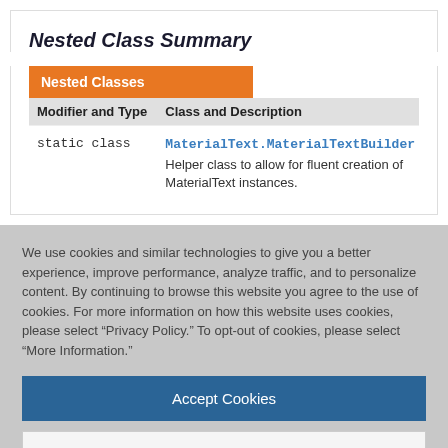Nested Class Summary
| Modifier and Type | Class and Description |
| --- | --- |
| static class | MaterialText.MaterialTextBuilder
Helper class to allow for fluent creation of MaterialText instances. |
We use cookies and similar technologies to give you a better experience, improve performance, analyze traffic, and to personalize content. By continuing to browse this website you agree to the use of cookies. For more information on how this website uses cookies, please select “Privacy Policy.” To opt-out of cookies, please select “More Information.”
Accept Cookies
More Information
Privacy Policy | Powered by: TrustArc